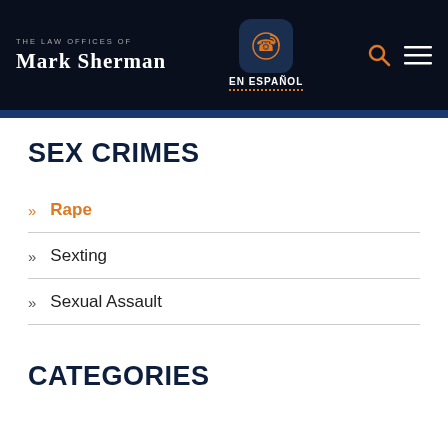THE LAW OFFICES OF MARK SHERMAN | EN ESPAÑOL
SEX CRIMES
Rape
Sexting
Sexual Assault
CATEGORIES